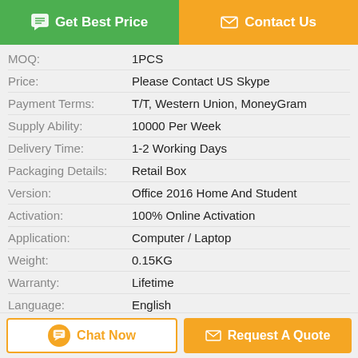[Figure (other): Green Get Best Price button and orange Contact Us button at top]
| Field | Value |
| --- | --- |
| MOQ: | 1PCS |
| Price: | Please Contact US Skype |
| Payment Terms: | T/T, Western Union, MoneyGram |
| Supply Ability: | 10000 Per Week |
| Delivery Time: | 1-2 Working Days |
| Packaging Details: | Retail Box |
| Version: | Office 2016 Home And Student |
| Activation: | 100% Online Activation |
| Application: | Computer / Laptop |
| Weight: | 0.15KG |
| Warranty: | Lifetime |
| Language: | English |
| Skype: | Softwarewto |
| High Light: | microsoft office 2016 license key   office 2016 lifetime license |
[Figure (other): Orange Chat Now button and orange Request A Quote button at bottom]